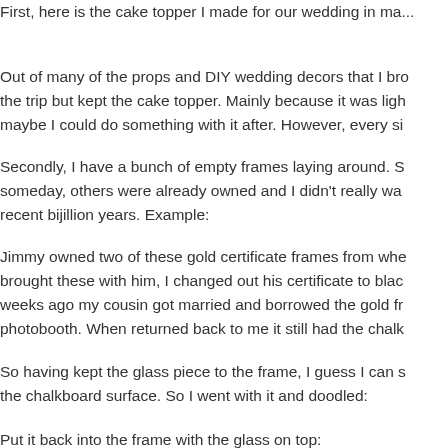First, here is the cake topper I made for our wedding in ma...
Out of many of the props and DIY wedding decors that I br... the trip but kept the cake topper. Mainly because it was ligh... maybe I could do something with it after. However, every si...
Secondly, I have a bunch of empty frames laying around. S... someday, others were already owned and I didn't really wa... recent bijillion years. Example:
Jimmy owned two of these gold certificate frames from whe... brought these with him, I changed out his certificate to blac... weeks ago my cousin got married and borrowed the gold fr... photobooth. When returned back to me it still had the chalk...
So having kept the glass piece to the frame, I guess I can s... the chalkboard surface. So I went with it and doodled:
Put it back into the frame with the glass on top: